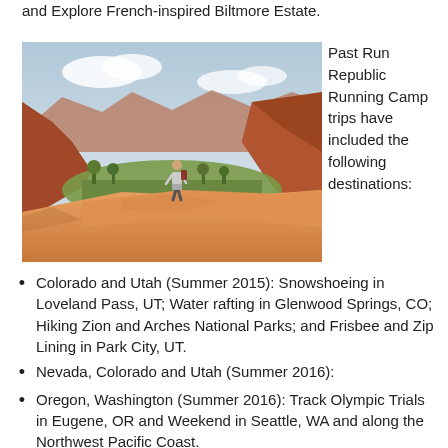and Explore French-inspired Biltmore Estate.
[Figure (photo): A person with a backpack standing on a red rock outcrop overlooking a vast canyon landscape with red sandstone cliffs and green valley below, likely Zion National Park.]
Past Run Republic Running Camp trips have included the following destinations:
Colorado and Utah (Summer 2015): Snowshoeing in Loveland Pass, UT; Water rafting in Glenwood Springs, CO; Hiking Zion and Arches National Parks; and Frisbee and Zip Lining in Park City, UT.
Nevada, Colorado and Utah (Summer 2016):
Oregon, Washington (Summer 2016): Track Olympic Trials in Eugene, OR and Weekend in Seattle, WA and along the Northwest Pacific Coast.